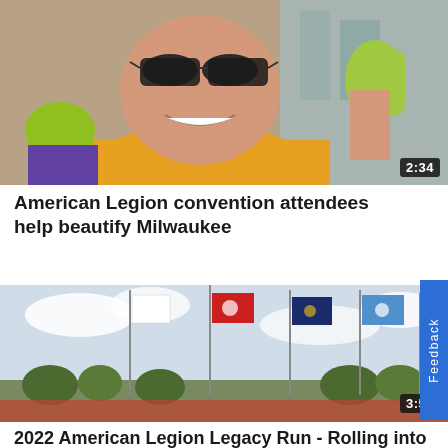[Figure (photo): Smiling man in yellow t-shirt with sunglasses, waving hands with yellow-green gloves visible, outdoors near a building. Video duration badge showing 2:34.]
American Legion convention attendees help beautify Milwaukee
[Figure (photo): Outdoor scene with five flagpoles displaying various flags (white, red, dark blue/navy, light blue, white) against a partly cloudy sky, with a crowd of people and trees below. Video duration badge showing 3:53.]
2022 American Legion Legacy Run - Rolling into Milwaukee